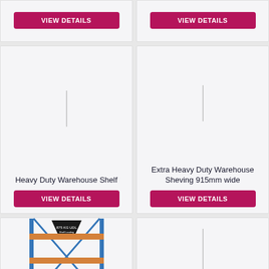[Figure (other): VIEW DETAILS button top-left card]
[Figure (other): VIEW DETAILS button top-right card]
[Figure (illustration): No image placeholder for Heavy Duty Warehouse Shelf]
Heavy Duty Warehouse Shelf
[Figure (other): VIEW DETAILS button for Heavy Duty Warehouse Shelf]
[Figure (illustration): No image placeholder for Extra Heavy Duty Warehouse Sheving 915mm wide]
Extra Heavy Duty Warehouse Sheving 915mm wide
[Figure (other): VIEW DETAILS button for Extra Heavy Duty Warehouse Sheving 915mm wide]
[Figure (illustration): Photo of a blue and orange metal warehouse shelving unit with 4 shelves]
Extra Heavy Duty Warehouse Shelving 1.8m wide
[Figure (illustration): No image placeholder for Extra Heavy Duty Warehouse Shelving 2.1m wide]
Extra Heavy Duty Warehouse Shelving 2.1m wide